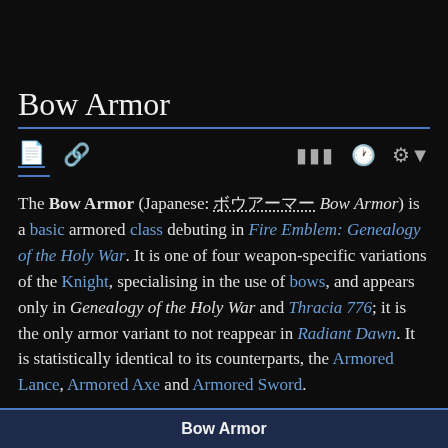Bow Armor
The Bow Armor (Japanese: ボウアーマー Bow Armor) is a basic armored class debuting in Fire Emblem: Genealogy of the Holy War. It is one of four weapon-specific variations of the Knight, specialising in the use of bows, and appears only in Genealogy of the Holy War and Thracia 776; it is the only armor variant to not reappear in Radiant Dawn. It is statistically identical to its counterparts, the Armored Lance, Armored Axe and Armored Sword.
Bow Armor